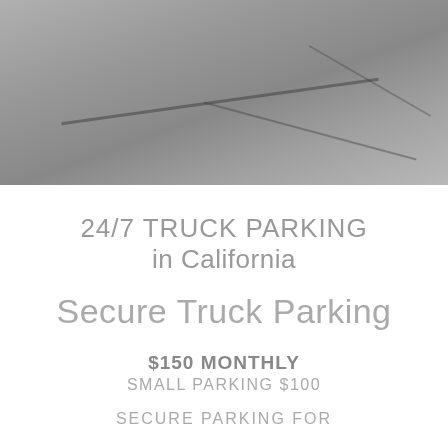[Figure (photo): Aerial or overhead photograph of a truck parking lot, shown in grayscale with lines suggesting pavement markings and road surfaces.]
24/7 TRUCK PARKING in California
Secure Truck Parking
$150 MONTHLY
SMALL PARKING $100
SECURE PARKING FOR